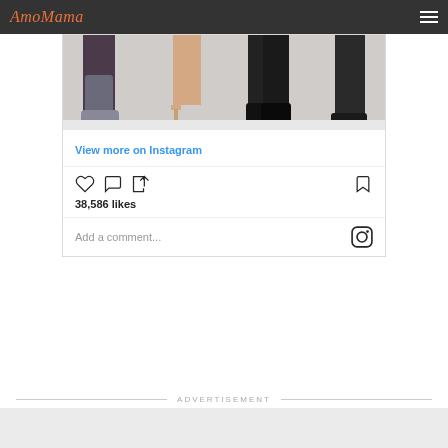AmoMama
[Figure (screenshot): Instagram embed card showing cropped image of people's feet and legs, with 'View more on Instagram' link, like/comment/share icons, 38,586 likes count, and Add a comment field with Instagram logo]
ADVERTISEMENT